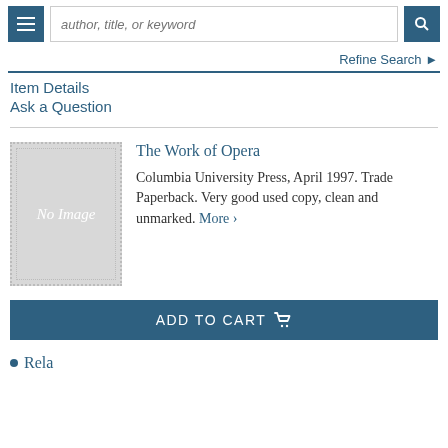author, title, or keyword
Refine Search
Item Details
Ask a Question
[Figure (illustration): No Image placeholder box with dotted border and italic text 'No Image']
The Work of Opera
Columbia University Press, April 1997. Trade Paperback. Very good used copy, clean and unmarked. More >
ADD TO CART
Rela...